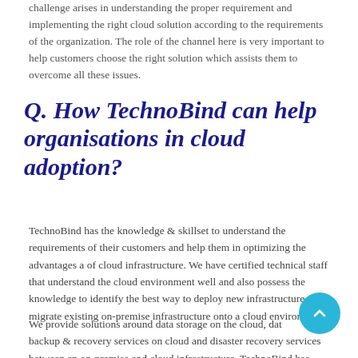challenge arises in understanding the proper requirement and implementing the right cloud solution according to the requirements of the organization. The role of the channel here is very important to help customers choose the right solution which assists them to overcome all these issues.
Q. How TechnoBind can help organisations in cloud adoption?
TechnoBind has the knowledge & skillset to understand the requirements of their customers and help them in optimizing the advantages a of cloud infrastructure. We have certified technical staff that understand the cloud environment well and also possess the knowledge to identify the best way to deploy new infrastructure or migrate existing on-premise infrastructure onto a cloud environment.
We provide solutions around data storage on the cloud, data backup & recovery services on cloud and disaster recovery services between an on-premise and cloud infrastructure. TechnoBind has